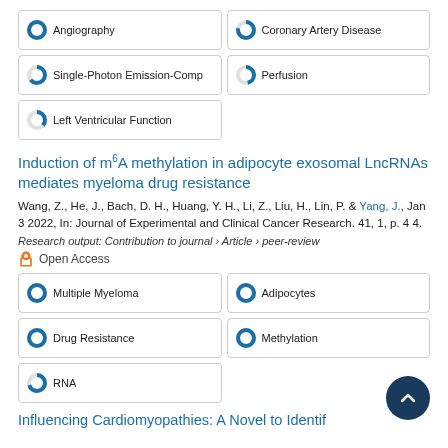Angiography
Coronary Artery Disease
Single-Photon Emission-Comp
Perfusion
Left Ventricular Function
Induction of m6A methylation in adipocyte exosomal LncRNAs mediates myeloma drug resistance
Wang, Z., He, J., Bach, D. H., Huang, Y. H., Li, Z., Liu, H., Lin, P. & Yang, J., Jan 3 2022, In: Journal of Experimental and Clinical Cancer Research. 41, 1, p. 4 4.
Research output: Contribution to journal › Article › peer-review
Open Access
Multiple Myeloma
Adipocytes
Drug Resistance
Methylation
RNA
Influencing Cardiomyopathies: A Novel to Identif...